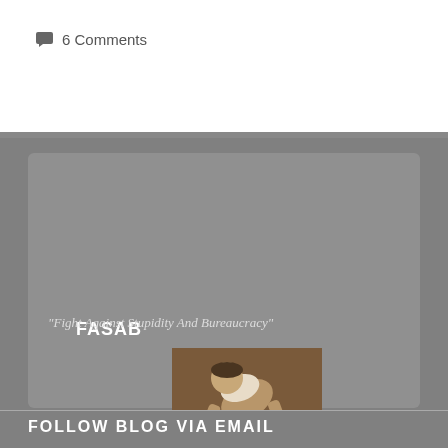💬 6 Comments
FASAB
[Figure (photo): A person bending over deeply, showing their back and legs, head not visible — a humorous illustration used as the FASAB blog logo.]
"Fight Against Stupidity And Bureaucracy"
FOLLOW BLOG VIA EMAIL